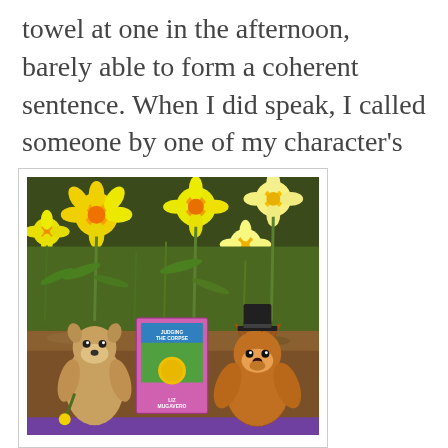towel at one in the afternoon, barely able to form a coherent sentence. When I did speak, I called someone by one of my character's names.
[Figure (photo): Two stuffed animals (a meerkat on the left and a hedgehog/bear wearing a black hat on the right) posed in front of a book titled 'Judging the Corpse' by Liz Mugavero, surrounded by yellow daffodil flowers in bloom with green stems and grass in the background. A purple cloth is visible at the bottom.]